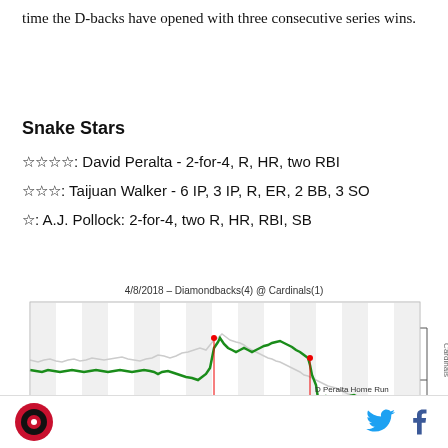time the D-backs have opened with three consecutive series wins.
Snake Stars
☆☆☆☆: David Peralta - 2-for-4, R, HR, two RBI
☆☆☆: Taijuan Walker - 6 IP, 3 IP, R, ER, 2 BB, 3 SO
☆: A.J. Pollock: 2-for-4, two R, HR, RBI, SB
[Figure (continuous-plot): Win probability chart for 4/8/2018 Diamondbacks(4) @ Cardinals(1). Green line shows Diamondbacks win probability over the course of the game, with annotations: K Wong Single (spike toward Cardinals), N Ahmed Single, D Peralta Home Run (large shift toward Diamondbacks). Y-axis labels Cardinals at top and Diamondbacks at bottom.]